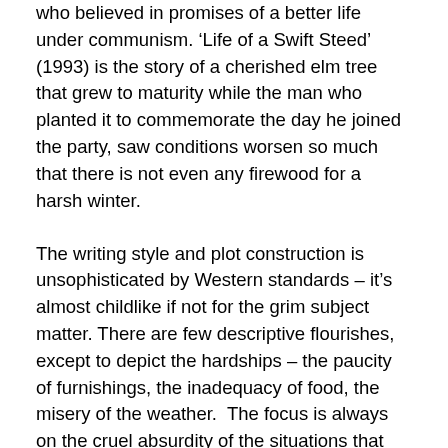who believed in promises of a better life under communism.  'Life of a Swift Steed' (1993) is the story of a cherished elm tree that grew to maturity while the man who planted it to commemorate the day he joined the party, saw conditions worsen so much that there is not even any firewood for a harsh winter.
The writing style and plot construction is unsophisticated by Western standards – it's almost childlike if not for the grim subject matter. There are few descriptive flourishes, except to depict the hardships – the paucity of furnishings, the inadequacy of food, the misery of the weather.  The focus is always on the cruel absurdity of the situations that the characters find themselves in, and the difference between how they react internally and when they are under observation by others.   In the story 'So Near, Yet So Far' (1993) the emphasis is on how familial duty and